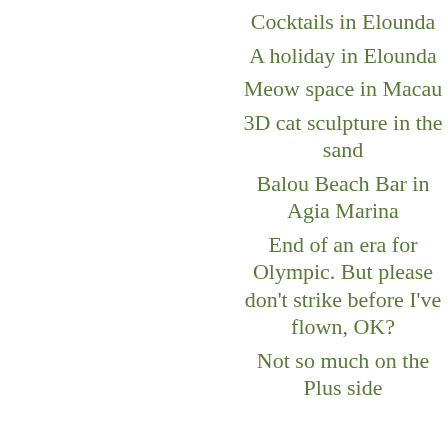Cocktails in Elounda
A holiday in Elounda
Meow space in Macau
3D cat sculpture in the sand
Balou Beach Bar in Agia Marina
End of an era for Olympic. But please don't strike before I've flown, OK?
Not so much on the Plus side